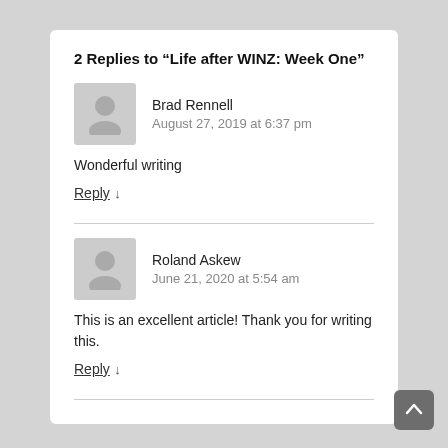2 Replies to “Life after WINZ: Week One”
Brad Rennell
August 27, 2019 at 6:37 pm
Wonderful writing
Reply ↓
Roland Askew
June 21, 2020 at 5:54 am
This is an excellent article! Thank you for writing this.
Reply ↓